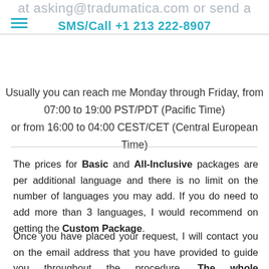at asking@tradumatica.com or send a SMS/Call +1 213 222-8907
Usually you can reach me Monday through Friday, from 07:00 to 19:00 PST/PDT (Pacific Time) or from 16:00 to 04:00 CEST/CET (Central European Time)
The prices for Basic and All-Inclusive packages are per additional language and there is no limit on the number of languages you may add. If you do need to add more than 3 languages, I would recommend on getting the Custom Package.
Once you have placed your request, I will contact you on the email address that you have provided to guide you throughout the procedure. The whole implementation is